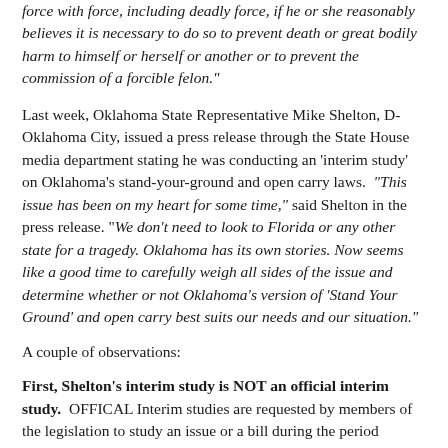force with force, including deadly force, if he or she reasonably believes it is necessary to do so to prevent death or great bodily harm to himself or herself or another or to prevent the commission of a forcible felon."
Last week, Oklahoma State Representative Mike Shelton, D-Oklahoma City, issued a press release through the State House media department stating he was conducting an 'interim study' on Oklahoma's stand-your-ground and open carry laws. "This issue has been on my heart for some time," said Shelton in the press release. "We don't need to look to Florida or any other state for a tragedy. Oklahoma has its own stories. Now seems like a good time to carefully weigh all sides of the issue and determine whether or not Oklahoma's version of 'Stand Your Ground' and open carry best suits our needs and our situation."
A couple of observations:
First, Shelton's interim study is NOT an official interim study. OFFICAL Interim studies are requested by members of the legislation to study an issue or a bill during the period